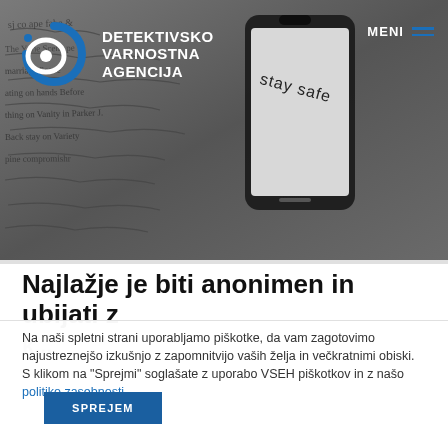[Figure (screenshot): Hero banner image: grayscale background with handwritten notes/text on paper, a smartphone in the center-right showing 'stay safe' on screen, overlaid with the agency logo and navigation.]
Najlažje je biti anonimen in ubijati z
Na naši spletni strani uporabljamo piškotke, da vam zagotovimo najustreznejšo izkušnjo z zapomnitvijo vaših želja in večkratnimi obiski. S klikom na "Sprejmi" soglašate z uporabo VSEH piškotkov in z našo politiko zasebnosti.
SPREJEM